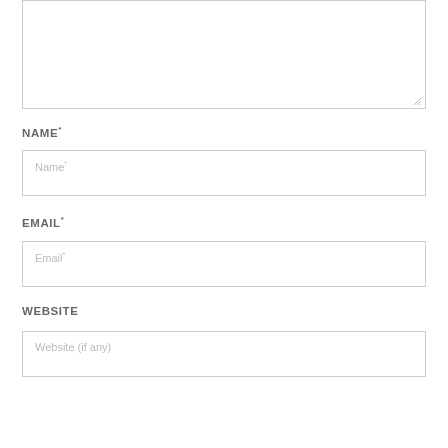[Figure (screenshot): A comment form section showing a textarea at the top (partially visible), followed by NAME label and input field, EMAIL label and input field, and WEBSITE label and input field. Each input has placeholder text.]
NAME*
Name*
EMAIL*
Email*
WEBSITE
Website (if any)